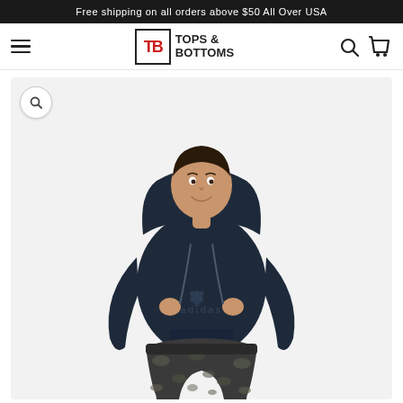Free shipping on all orders above $50 All Over USA
[Figure (logo): Tops & Bottoms logo with TB initials in red box]
[Figure (photo): Young male model wearing a navy adidas hoodie with trefoil logo and dark camouflage jogger pants, posing against a light background]